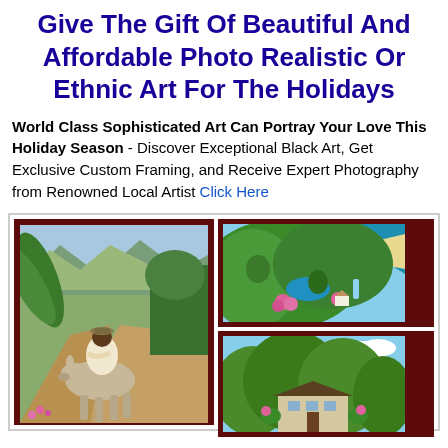Give The Gift Of Beautiful And Affordable Photo Realistic Or Ethnic Art For The Holidays
World Class Sophisticated Art Can Portray Your Love This Holiday Season - Discover Exceptional Black Art, Get Exclusive Custom Framing, and Receive Expert Photography from Renowned Local Artist Click Here
[Figure (photo): Gallery of three ethnic/photo-realistic paintings in dark red frames. Left: a man riding a donkey on a rural path surrounded by tropical vegetation and mountains. Top right: aerial tropical landscape with a pool, golf course, flowers, and ocean coastline. Bottom right: a tropical scene with a building and lush green trees.]